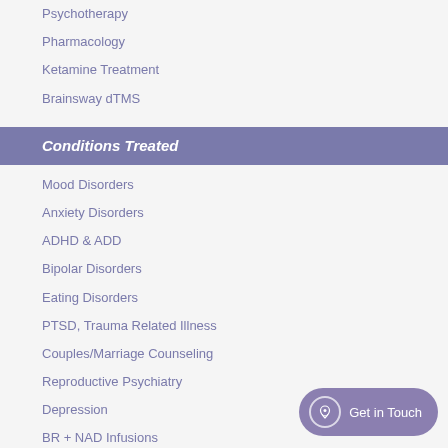Psychotherapy
Pharmacology
Ketamine Treatment
Brainsway dTMS
Conditions Treated
Mood Disorders
Anxiety Disorders
ADHD & ADD
Bipolar Disorders
Eating Disorders
PTSD, Trauma Related Illness
Couples/Marriage Counseling
Reproductive Psychiatry
Depression
BR + NAD Infusions